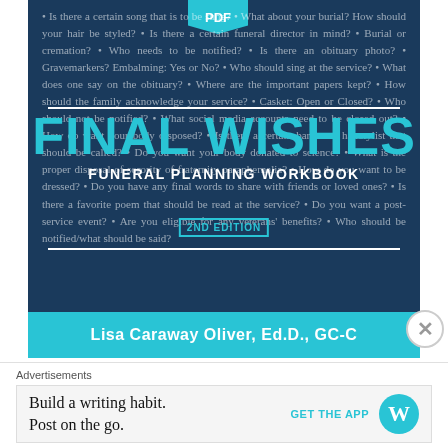[Figure (illustration): Book cover for 'Final Wishes: Funeral Planning Workbook, 2nd Edition' by Lisa Caraway Oliver, Ed.D., GC-C. Dark navy background with teal title text and a PDF banner badge. Background text lists funeral planning questions. Author name appears in a teal bar at the bottom.]
FINAL WISHES
FUNERAL PLANNING WORKBOOK
2ND EDITION
Lisa Caraway Oliver, Ed.D., GC-C
Advertisements
Build a writing habit. Post on the go.
GET THE APP